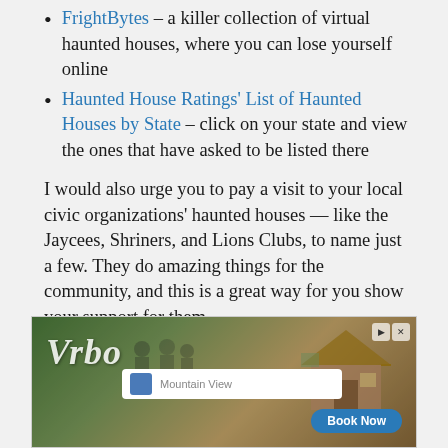FrightBytes – a killer collection of virtual haunted houses, where you can lose yourself online
Haunted House Ratings' List of Haunted Houses by State – click on your state and view the ones that have asked to be listed there
I would also urge you to pay a visit to your local civic organizations' haunted houses — like the Jaycees, Shriners, and Lions Clubs, to name just a few. They do amazing things for the community, and this is a great way for you show your support for them.
[Figure (screenshot): VRBO advertisement banner showing logo, a property search bar with 'Mountain View' text, a house image, and a 'Book Now' button]